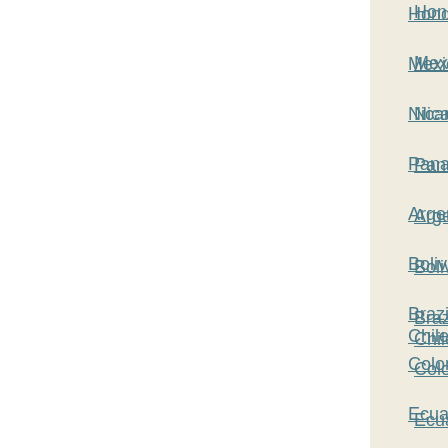Honduras,
Mexico,
Nicaragua,
Panama,
Argentina,
Bolivia,
Brazil, Chile,
Colombia,
Ecuador,
French Guiana,
Guyana,
Paraguay,
Peru,
Suriname,
Uruguay,
Venezuela,
Antigua and Barbuda,
Cuba,
Dominica,